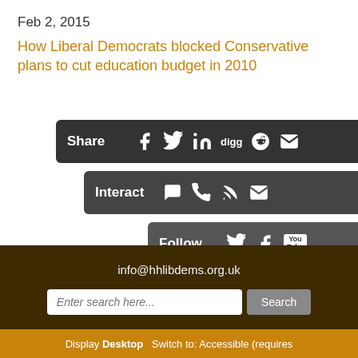Feb 2, 2015
How Liberal Democrats blocked Conservative plans to cut education budget in 2010
[Figure (infographic): Share social bar with Facebook, Twitter, LinkedIn, Digg, Reddit, Email icons]
[Figure (infographic): Interact bar with comment, phone, RSS, email icons]
[Figure (infographic): Follow bar with Twitter, Facebook, YouTube icons]
[Figure (infographic): Help bar with accessibility and pound sign icons]
info@hhlibdems.org.uk
Enter search here... Search
Display Desktop  Switch to: Accessible (requires